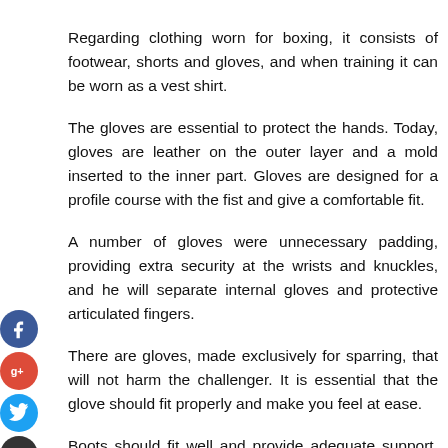Regarding clothing worn for boxing, it consists of footwear, shorts and gloves, and when training it can be worn as a vest shirt.
The gloves are essential to protect the hands. Today, gloves are leather on the outer layer and a mold inserted to the inner part. Gloves are designed for a profile course with the fist and give a comfortable fit.
[Figure (other): Social media sharing icons on the left side: Facebook (blue circle with f), Google+ (red circle with g+), Twitter (blue circle with bird), Add/Share (dark circle with plus sign)]
A number of gloves were unnecessary padding, providing extra security at the wrists and knuckles, and he will separate internal gloves and protective articulated fingers.
There are gloves, made exclusively for sparring, that will not harm the challenger. It is essential that the glove should fit properly and make you feel at ease.
Boots should fit well and provide adequate support. They